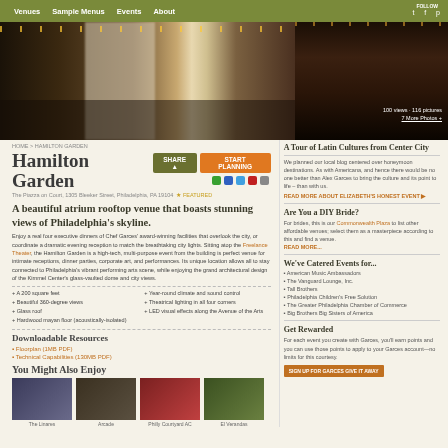Venues | Sample Menus | Events | About
[Figure (photo): Hero banner showing Hamilton Garden venue interior with draped curtains, string lights, long banquet tables on left, and a candlelit dinner setting on the right. Counter shows '100 views · 116 pictures · 7 More Photos +']
HOME > HAMILTON GARDEN
Hamilton Garden
The Piazza on Court, 1305 Bleeker Street, Philadelphia, PA 19104 ★ FEATURED
A beautiful atrium rooftop venue that boasts stunning views of Philadelphia's skyline.
Enjoy a meal from executive dinners of Chef Garces' award-winning facilities that overlook the city, or coordinate a dramatic evening reception to match the breathtaking city lights. Sitting atop the Freelance Theater, the Hamilton Garden is a high-tech, multi-purpose event from the building is perfect venue for intimate receptions, dinner parties, corporate art, and performances. Its unique location allows all to stay connected to Philadelphia's vibrant performing arts scene, while enjoying the grand architectural design of the Kimmel Center's glass-vaulted dome and city views.
A 200 square feet
Beautiful 360-degree views
Glass roof
Hardwood mayan floor (acoustically-isolated)
Year-round climate and sound control
Theatrical lighting in all four corners
LED visual effects along the Avenue of the Arts
Downloadable Resources
Floorplan (1MB PDF)
Technical Capabilities (130MB PDF)
You Might Also Enjoy
[Figure (photo): Thumbnail: The Linares]
[Figure (photo): Thumbnail: Arcade]
[Figure (photo): Thumbnail: Philly Courtyard AC]
[Figure (photo): Thumbnail: El Verandas]
A Tour of Latin Cultures from Center City
We planned our local blog centered over honeymoon destinations. As with Americana, and hence there would be no one better than Alex Garces to bring the culture and its point to life - than with us.
READ MORE ABOUT ELIZABETH'S HONEST EVENT ▶
Are You a DIY Bride?
For brides, this is our Commonwealth Plaza to list other affordable venues; select them as a masterpiece according to them and find a venue. READ MORE...
We've Catered Events for...
American Music Ambassadors
The Vanguard Lounge, Inc.
Tall Brothers
Philadelphia Children's Free Solution
The Greater Philadelphia Chamber of Commerce
Big Brothers Big Sisters of America
Get Rewarded
For each event you create with Garces, you'll earn points and you can use those points to apply to your Garces account—no limits for this courtesy.